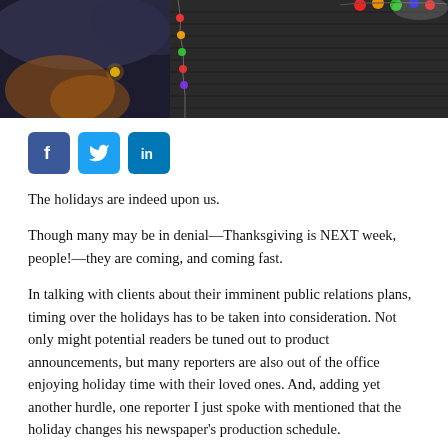[Figure (photo): Photograph of a building exterior at dusk/night with colorful holiday lights hanging on the left side and bright colored decorations visible at the top right corner. The building has dark gray siding.]
[Figure (infographic): Social media share buttons: Facebook (blue square with f), Twitter (light blue square with bird icon), LinkedIn (blue square with 'in')]
The holidays are indeed upon us.
Though many may be in denial—Thanksgiving is NEXT week, people!—they are coming, and coming fast.
In talking with clients about their imminent public relations plans, timing over the holidays has to be taken into consideration. Not only might potential readers be tuned out to product announcements, but many reporters are also out of the office enjoying holiday time with their loved ones. And, adding yet another hurdle, one reporter I just spoke with mentioned that the holiday changes his newspaper's production schedule.